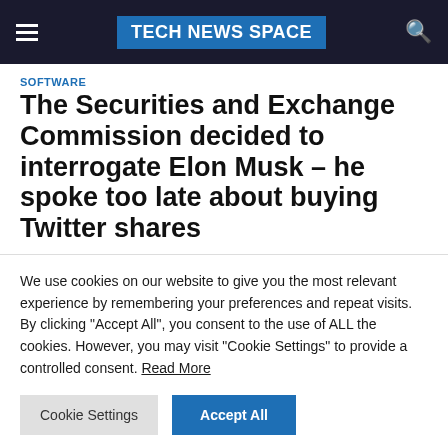TECH NEWS SPACE
SOFTWARE
The Securities and Exchange Commission decided to interrogate Elon Musk – he spoke too late about buying Twitter shares
We use cookies on our website to give you the most relevant experience by remembering your preferences and repeat visits. By clicking "Accept All", you consent to the use of ALL the cookies. However, you may visit "Cookie Settings" to provide a controlled consent. Read More
Cookie Settings | Accept All